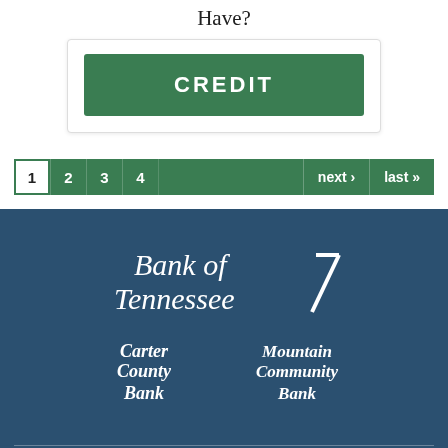Have?
[Figure (other): Green button with text CREDIT inside a white card/box]
[Figure (other): Pagination bar with pages 1 (active), 2, 3, 4, next, last navigation links on green background]
[Figure (logo): Bank of Tennessee logo in white italic serif font with stylized checkmark/slash, on dark teal background]
[Figure (logo): Carter County Bank logo in white italic serif font on dark teal background]
[Figure (logo): Mountain Community Bank logo in white italic serif font on dark teal background]
GET TO KNOW US